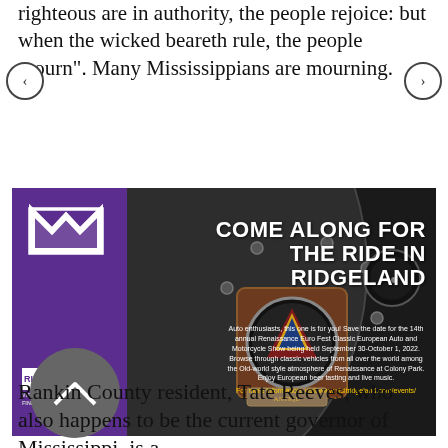righteous are in authority, the people rejoice: but when the wicked beareth rule, the people mourn". Many Mississippians are mourning.
[Figure (infographic): Advertisement for Ridgeland Mississippi tourism featuring a vintage car dashboard/fender closeup with text 'Come Along for the Ride in Ridgeland'. Includes Ridgeland Mississippi logo and event info for Renaissance Euro Fest Classic European Auto and Motorcycle Show September 30-October 1, 2022.]
Rankin County resident, Tate Reeves, who also happens to be the current governor of Mississippi, is a